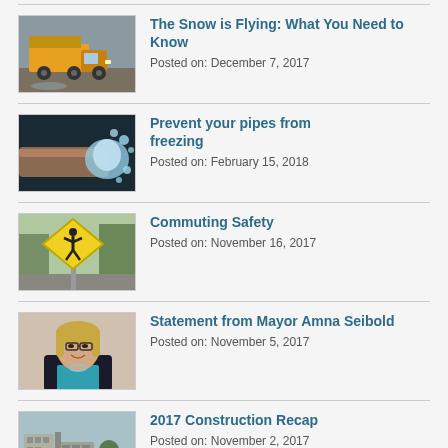The Snow is Flying: What You Need to Know
Posted on: December 7, 2017
Prevent your pipes from freezing
Posted on: February 15, 2018
Commuting Safety
Posted on: November 16, 2017
Statement from Mayor Amna Seibold
Posted on: November 5, 2017
2017 Construction Recap
Posted on: November 2, 2017